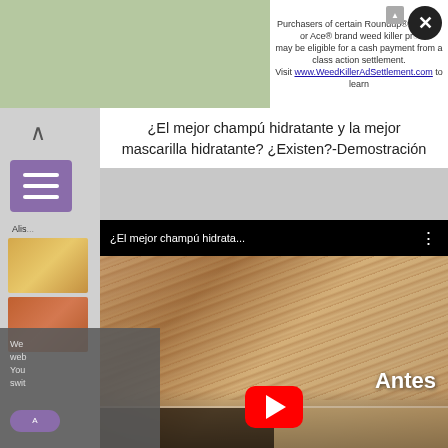[Figure (screenshot): Advertisement banner at top: green/nature background on left, white text area on right reading 'Purchasers of certain Roundup®, HDX®, or Ace® brand weed killer pro may be eligible for a cash payment from a class action settlement. Visit www.WeedKillerAdSettlement.com to learn' with close X button and ad icon]
¿El mejor champú hidratante y la mejor mascarilla hidratante? ¿Existen?- Demostración
[Figure (screenshot): YouTube video embed showing title '¿El mejor champú hidrata...' with three-dot menu. Thumbnail shows close-up of brown hair with text 'Antes' (Before) in bottom right. Red YouTube play button centered. Progress bar visible. Video is about moisturizing shampoo and hair mask demonstration.]
[Figure (screenshot): Cookie/privacy notice overlay in bottom left corner (grey semi-transparent): 'We use cookies on our website. You can switch...' with a purple Accept button partially visible.]